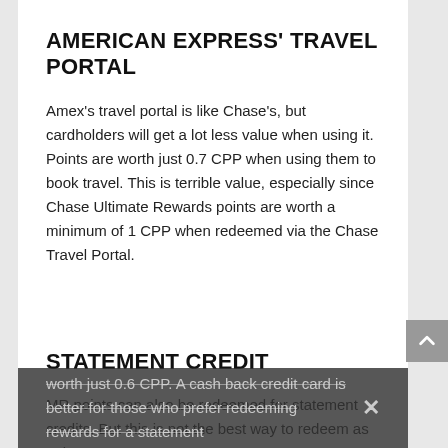AMERICAN EXPRESS' TRAVEL PORTAL
Amex's travel portal is like Chase's, but cardholders will get a lot less value when using it. Points are worth just 0.7 CPP when using them to book travel. This is terrible value, especially since Chase Ultimate Rewards points are worth a minimum of 1 CPP when redeemed via the Chase Travel Portal.
STATEMENT CREDIT
MR points can also be redeemed for statement credits. But this is not the best way to redeem as points are worth just 0.6 CPP. A cash back credit card is better for those who prefer redeeming rewards for a statement...